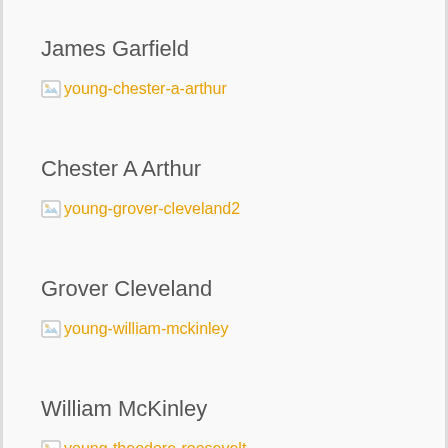James Garfield
[Figure (illustration): Broken image placeholder labeled 'young-chester-a-arthur']
Chester A Arthur
[Figure (illustration): Broken image placeholder labeled 'young-grover-cleveland2']
Grover Cleveland
[Figure (illustration): Broken image placeholder labeled 'young-william-mckinley']
William McKinley
[Figure (illustration): Broken image placeholder labeled 'young-theodore-roosevelt' (partially visible)]